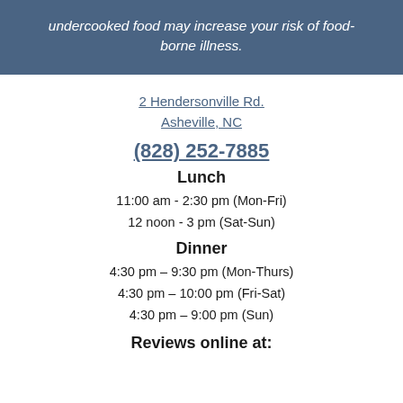undercooked food may increase your risk of food-borne illness.
2 Hendersonville Rd.
Asheville, NC
(828) 252-7885
Lunch
11:00 am - 2:30 pm (Mon-Fri)
12 noon - 3 pm (Sat-Sun)
Dinner
4:30 pm – 9:30 pm (Mon-Thurs)
4:30 pm – 10:00 pm (Fri-Sat)
4:30 pm – 9:00 pm (Sun)
Reviews online at: